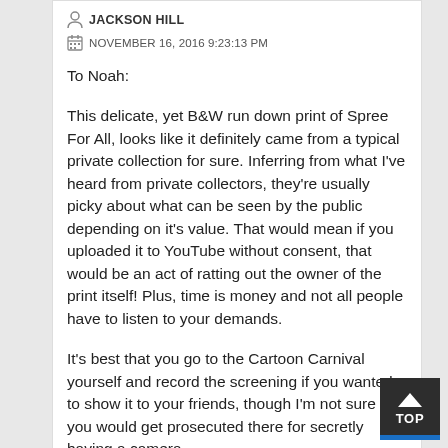JACKSON HILL
NOVEMBER 16, 2016 9:23:13 PM
To Noah:

This delicate, yet B&W run down print of Spree For All, looks like it definitely came from a typical private collection for sure. Inferring from what I've heard from private collectors, they're usually picky about what can be seen by the public depending on it's value. That would mean if you uploaded it to YouTube without consent, that would be an act of ratting out the owner of the print itself! Plus, time is money and not all people have to listen to your demands.

It's best that you go to the Cartoon Carnival yourself and record the screening if you wanted to show it to your friends, though I'm not sure if you would get prosecuted there for secretly having a camera.